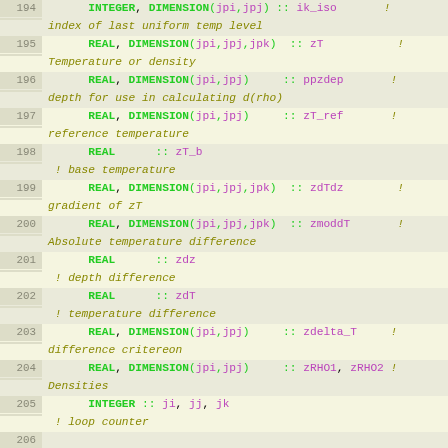[Figure (screenshot): Fortran source code listing with line numbers 194-214, showing variable declarations (REAL, INTEGER, DIMENSION) with comments, and assignment statements unpacking a structure. Syntax-highlighted with green keywords, purple variable names, olive comments.]